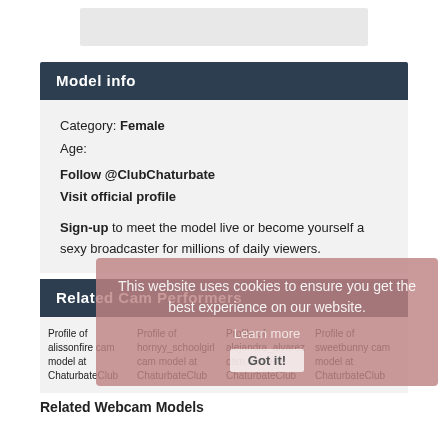[Figure (other): Gray image/banner bar at top of page]
Model info
Category: Female
Age:
Follow @ClubChaturbate
Visit official profile
Sign-up to meet the model live or become yourself a sexy broadcaster for millions of daily viewers.
Related Cam Performers
[Figure (other): Cookie consent overlay: 'This website uses cookies to ensure you get the best experience on our website. Learn more. Got it!']
[Figure (photo): Profile of alissonfire cam model at ChaturbateClub]
[Figure (photo): Profile of hornyy_schoolgirl cam model at ChaturbateClub]
[Figure (photo): Profile of alejandra_alvarez cam model at ChaturbateClub]
[Figure (photo): Profile of sweetbunny cam model at ChaturbateClub]
Related Webcam Models